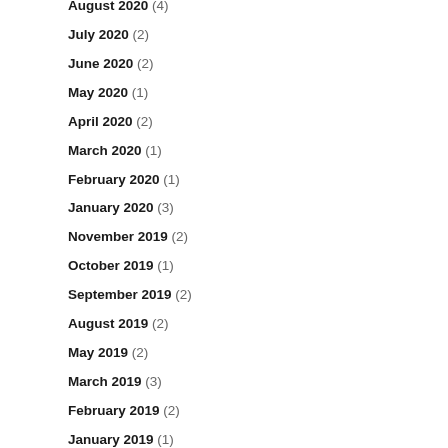August 2020 (4)
July 2020 (2)
June 2020 (2)
May 2020 (1)
April 2020 (2)
March 2020 (1)
February 2020 (1)
January 2020 (3)
November 2019 (2)
October 2019 (1)
September 2019 (2)
August 2019 (2)
May 2019 (2)
March 2019 (3)
February 2019 (2)
January 2019 (1)
December 2018 (2)